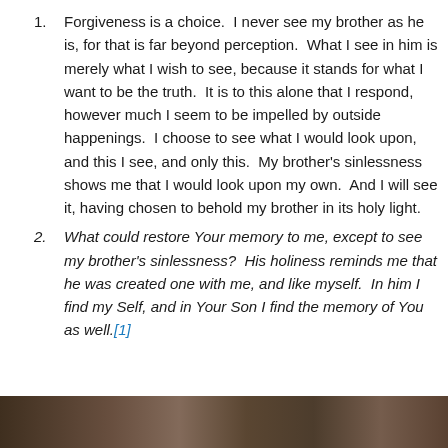Forgiveness is a choice.  I never see my brother as he is, for that is far beyond perception.  What I see in him is merely what I wish to see, because it stands for what I want to be the truth.  It is to this alone that I respond, however much I seem to be impelled by outside happenings.  I choose to see what I would look upon, and this I see, and only this.  My brother's sinlessness shows me that I would look upon my own.  And I will see it, having chosen to behold my brother in its holy light.
What could restore Your memory to me, except to see my brother's sinlessness?  His holiness reminds me that he was created one with me, and like myself.  In him I find my Self, and in Your Son I find the memory of You as well.[1]
[Figure (photo): A dark horizontal photo strip at the bottom of the page, showing what appears to be people or faces in dim/warm tones]